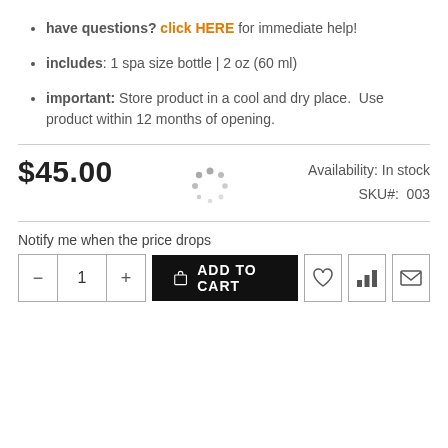have questions? click HERE for immediate help!
includes: 1 spa size bottle | 2 oz (60 ml)
important: Store product in a cool and dry place.  Use product within 12 months of opening.
$45.00
Availability: In stock
SKU#:  003
Notify me when the price drops